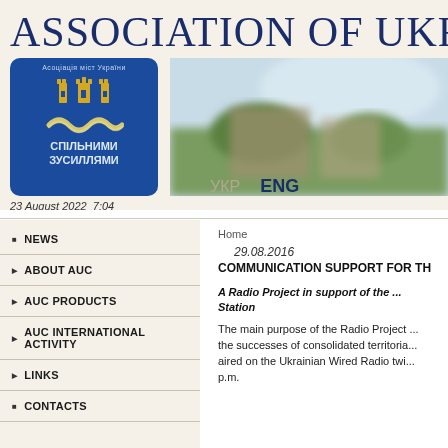ASSOCIATION OF UKRAI
[Figure (logo): Blue square logo with castle towers, ribbon/waves design, and Ukrainian text 'СПІЛЬНИМИ ЗУСИЛЛЯМИ' (Together with joint efforts). Circular text reads 'Асоціація міст України'.]
[Figure (photo): Blurred outdoor nature/landscape photo showing green trees and sky in background, occupying the right portion of the header.]
УКР   ENG
23 August 2022  7:04
NEWS
ABOUT AUC
AUC PRODUCTS
AUC INTERNATIONAL ACTIVITY
LINKS
CONTACTS
Home
29.08.2016
COMMUNICATION SUPPORT FOR TH
A Radio Project in support of the ... Station
The main purpose of the Radio Project ... the successes of consolidated territoria... aired on the Ukrainian Wired Radio twi... p.m.